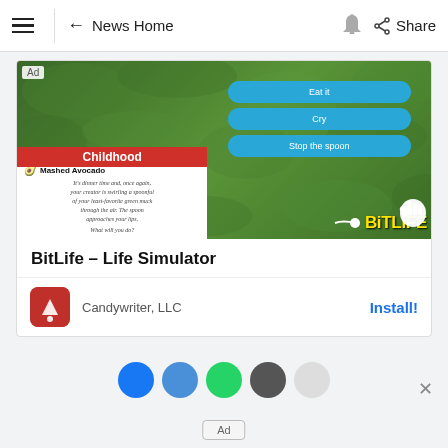≡  ← News Home  🔔  Share
[Figure (screenshot): BitLife - Life Simulator app advertisement showing a game screenshot with green background, Childhood scene, Mashed Avocado scenario, choice buttons (Eat it, Cry, Stop the spoon), and BitLife logo]
BitLife – Life Simulator
Candywriter, LLC
Install!
Ad